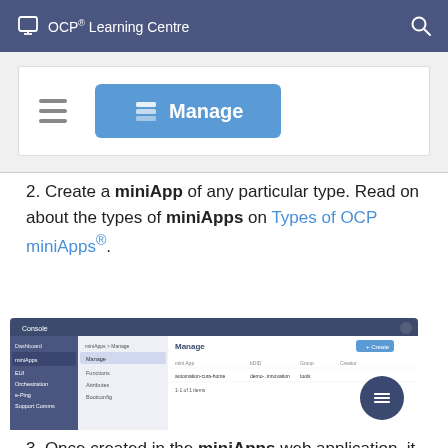OCP® Learning Centre
[Figure (screenshot): UI screenshot showing a hamburger menu icon and a blue 'Manage' button with a layers icon]
2. Create a miniApp of any particular type. Read on about the types of miniApps on Types of OCP miniApps®.
[Figure (screenshot): Screenshot of OCP Console web application showing the miniApps Manage screen with navigation menu and data table]
3. Once created in the miniApps web application, it is